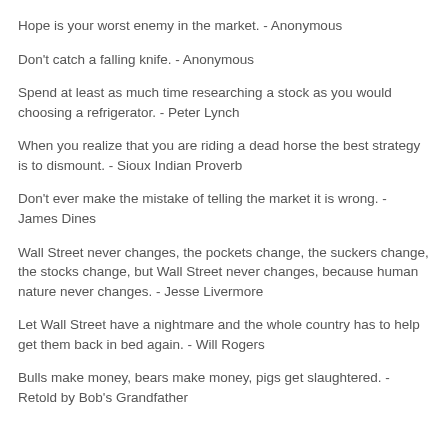Hope is your worst enemy in the market. - Anonymous
Don't catch a falling knife. - Anonymous
Spend at least as much time researching a stock as you would choosing a refrigerator. - Peter Lynch
When you realize that you are riding a dead horse the best strategy is to dismount. - Sioux Indian Proverb
Don't ever make the mistake of telling the market it is wrong. - James Dines
Wall Street never changes, the pockets change, the suckers change, the stocks change, but Wall Street never changes, because human nature never changes. - Jesse Livermore
Let Wall Street have a nightmare and the whole country has to help get them back in bed again. - Will Rogers
Bulls make money, bears make money, pigs get slaughtered. - Retold by Bob's Grandfather